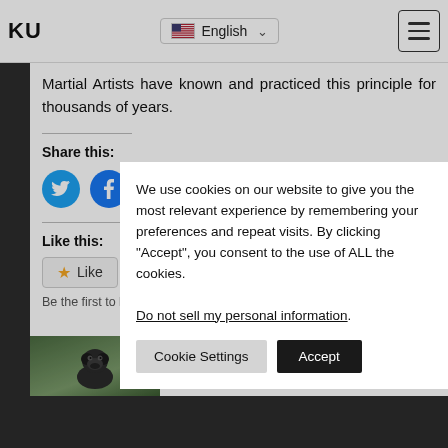KU | English
Martial Artists have known and practiced this principle for thousands of years.
Share this:
[Figure (illustration): Twitter and Facebook social share icon buttons (blue circles with bird and f icons)]
Like this:
Like
Be the first to like this.
We use cookies on our website to give you the most relevant experience by remembering your preferences and repeat visits. By clicking “Accept”, you consent to the use of ALL the cookies.
Do not sell my personal information.
[Figure (photo): Partial photo of a gorilla or dark-haired animal outdoors on green background]